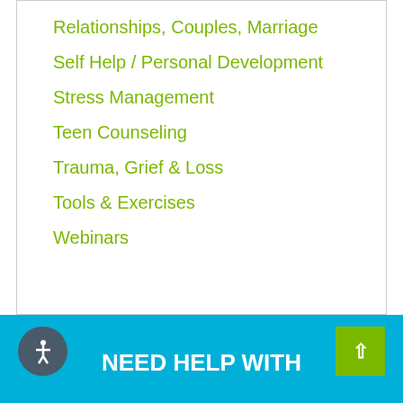Relationships, Couples, Marriage
Self Help / Personal Development
Stress Management
Teen Counseling
Trauma, Grief & Loss
Tools & Exercises
Webinars
NEED HELP WITH